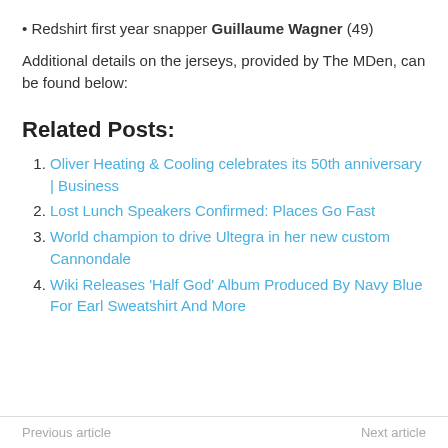• Redshirt first year snapper Guillaume Wagner (49)
Additional details on the jerseys, provided by The MDen, can be found below:
Related Posts:
1. Oliver Heating & Cooling celebrates its 50th anniversary | Business
2. Lost Lunch Speakers Confirmed: Places Go Fast
3. World champion to drive Ultegra in her new custom Cannondale
4. Wiki Releases 'Half God' Album Produced By Navy Blue For Earl Sweatshirt And More
Previous article   Next article